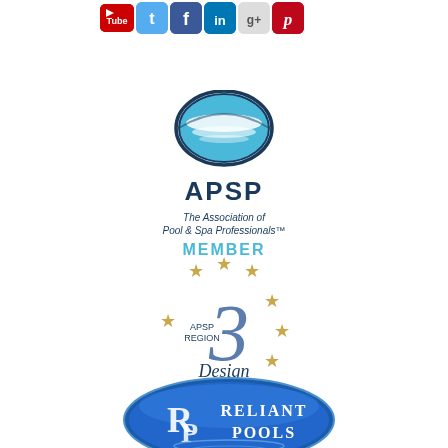[Figure (logo): Row of social media icons: YouTube, Twitter, Facebook, LinkedIn, Google+, Pinterest]
[Figure (logo): APSP - The Association of Pool & Spa Professionals MEMBER logo with globe icon]
[Figure (logo): APSP Region 3 Design Awards logo with gold stars and large italic numeral 3]
[Figure (logo): Reliant Pools logo - blue oval with RP initials and water ripple]